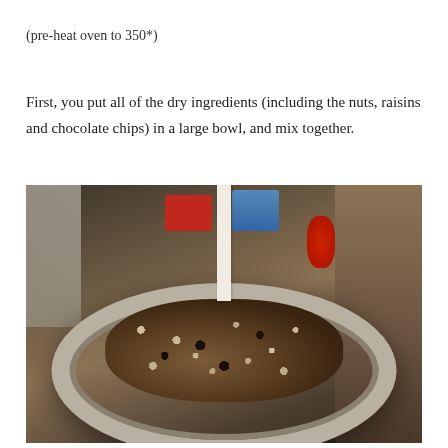(pre-heat oven to 350*)
First, you put all of the dry ingredients (including the nuts, raisins and chocolate chips) in a large bowl, and mix together.
[Figure (photo): A large stainless steel mixing bowl filled with chopped nuts, raisins, chocolate chips, and dry ingredients including cocoa powder. A white stand mixer arm is visible inside the bowl. Various kitchen items and spice containers are visible in the background.]